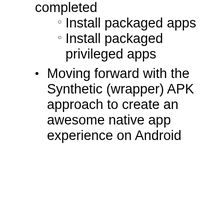completed
Install packaged apps
Install packaged privileged apps
Moving forward with the Synthetic (wrapper) APK approach to create an awesome native app experience on Android